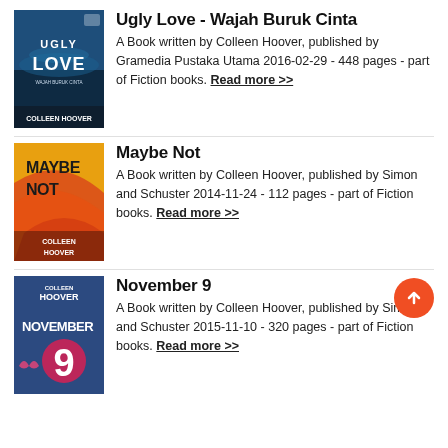Ugly Love - Wajah Buruk Cinta
A Book written by Colleen Hoover, published by Gramedia Pustaka Utama 2016-02-29 - 448 pages - part of Fiction books. Read more >>
Maybe Not
A Book written by Colleen Hoover, published by Simon and Schuster 2014-11-24 - 112 pages - part of Fiction books. Read more >>
November 9
A Book written by Colleen Hoover, published by Simon and Schuster 2015-11-10 - 320 pages - part of Fiction books. Read more >>